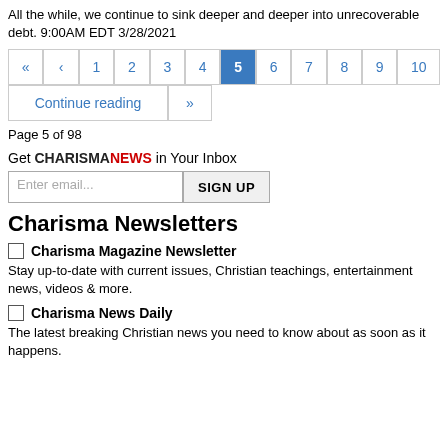All the while, we continue to sink deeper and deeper into unrecoverable debt. 9:00AM EDT 3/28/2021
[Figure (other): Pagination navigation bar showing pages 1-10 with page 5 highlighted in blue, back arrows, Continue reading link, and double forward arrows]
Page 5 of 98
Get CHARISMANEWS in Your Inbox
[Figure (screenshot): Email signup form with input field placeholder 'Enter email...' and SIGN UP button]
Charisma Newsletters
Charisma Magazine Newsletter - Stay up-to-date with current issues, Christian teachings, entertainment news, videos & more.
Charisma News Daily - The latest breaking Christian news you need to know about as soon as it happens.